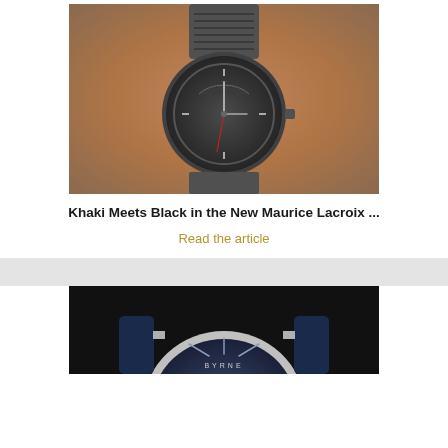[Figure (photo): Close-up photo of a Maurice Lacroix watch with dark/khaki dial on a mesh strap, worn on a wrist]
Khaki Meets Black in the New Maurice Lacroix ...
Read the article
[Figure (photo): Close-up photo of a watch with blue/navy dial and silver case, partially cropped at page bottom]